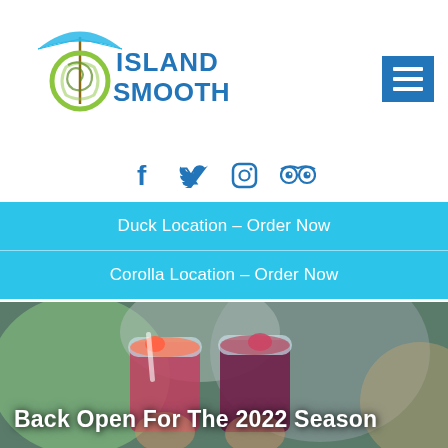[Figure (logo): Island Smoothie logo with colorful umbrella and swirl design, blue text reading ISLAND SMOOTHIE]
[Figure (infographic): Hamburger/menu icon button in blue square, top right corner]
[Figure (infographic): Social media icons: Facebook, Twitter, Instagram, TripAdvisor in blue]
Duck Location - Order Now
Corolla Location - Order Now
[Figure (photo): Photo showing two colorful smoothie drinks being held, with blurred background of a person in green and another in white shirt]
Back Open For The 2022 Season